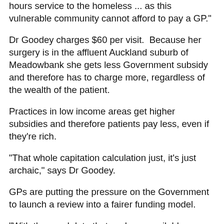hours service to the homeless ... as this vulnerable community cannot afford to pay a GP."
Dr Goodey charges $60 per visit.  Because her surgery is in the affluent Auckland suburb of Meadowbank she gets less Government subsidy and therefore has to charge more, regardless of the wealth of the patient.
Practices in low income areas get higher subsidies and therefore patients pay less, even if they're rich.
"That whole capitation calculation just, it's just archaic," says Dr Goodey.
GPs are putting the pressure on the Government to launch a review into a fairer funding model.
"With the good data that we have available now there